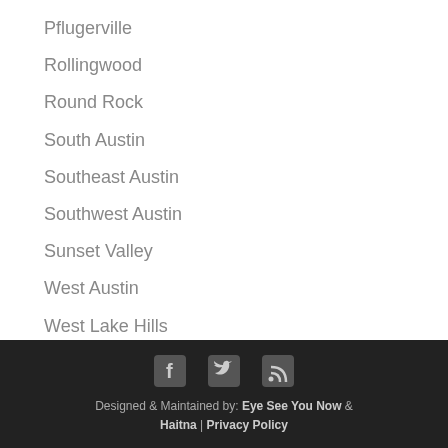Pflugerville
Rollingwood
Round Rock
South Austin
Southeast Austin
Southwest Austin
Sunset Valley
West Austin
West Lake Hills
Designed & Maintained by: Eye See You Now & Haitna | Privacy Policy